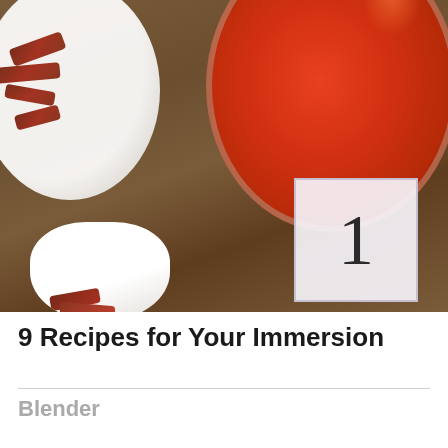[Figure (photo): Overhead food photo showing a glass jar of bright red tomato/hot sauce (top right), a white ceramic bowl with roasted/dried meat pieces (top left), and a small white bowl with more meat pieces (bottom left). A white square badge with a large numeral '1' overlays the bottom right of the image, on a dark wooden table surface.]
9 Recipes for Your Immersion
Blender